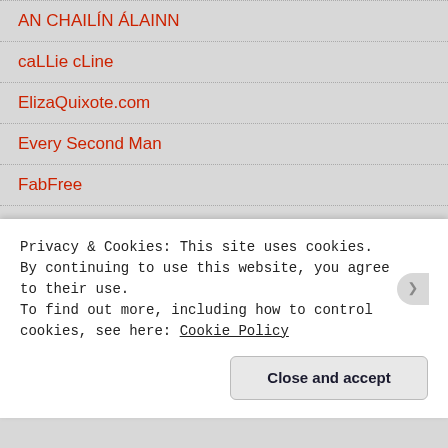AN CHAILÍN ÁLAINN
caLLie cLine
ElizaQuixote.com
Every Second Man
FabFree
Hey Girlfriend
Juicy Bomb
Kidman's Palette
Multimuse
Privacy & Cookies: This site uses cookies. By continuing to use this website, you agree to their use.
To find out more, including how to control cookies, see here: Cookie Policy
Close and accept